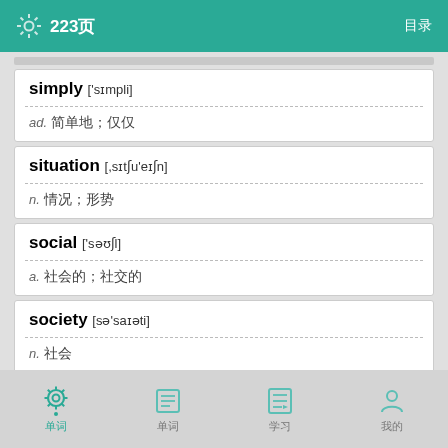223页
simply ['sɪmpli]
ad. 简单地；仅仅
situation [,sɪtʃu'eɪʃn]
n. 情况；形势
social ['səʊʃl]
a. 社会的；社交的
society [sə'saɪəti]
n. 社会
spirit ['spɪrɪt]
n. 精神；心灵
单词 单词 学习 我的